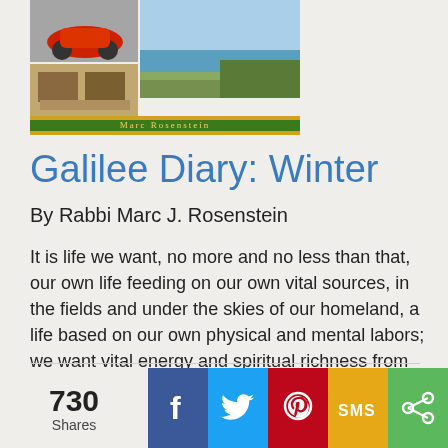[Figure (illustration): Book cover for Galilee Diary: Winter by Marc Rosenstein, showing landscape and nature photos with a green/yellow banner at the bottom with the author's name.]
Galilee Diary: Winter
By Rabbi Marc J. Rosenstein
It is life we want, no more and no less than that, our own life feeding on our own vital sources, in the fields and under the skies of our homeland, a life based on our own physical and mental labors; we want vital energy and spiritual richness from this living source.
730 Shares